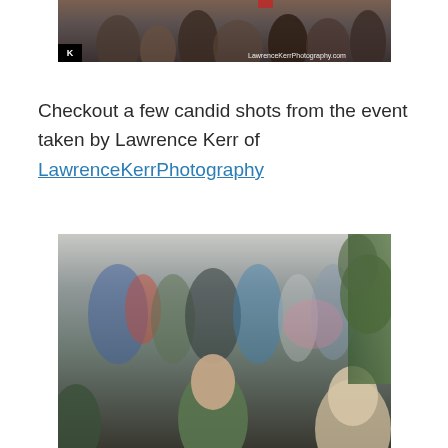[Figure (photo): Top portion of a crowd photo at an event, with LawrenceKerrPhotography.com watermark and logo visible at bottom of image]
Checkout a few candid shots from the event taken by Lawrence Kerr of LawrenceKerrPhotography
[Figure (photo): Candid shot of event attendees milling around indoors, blurred background with people socializing]